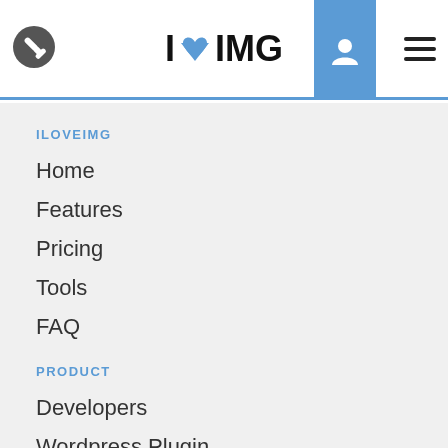I LOVE IMG — Navigation bar with wrench icon, user icon, and hamburger menu
ILOVEIMG
Home
Features
Pricing
Tools
FAQ
PRODUCT
Developers
Wordpress Plugin